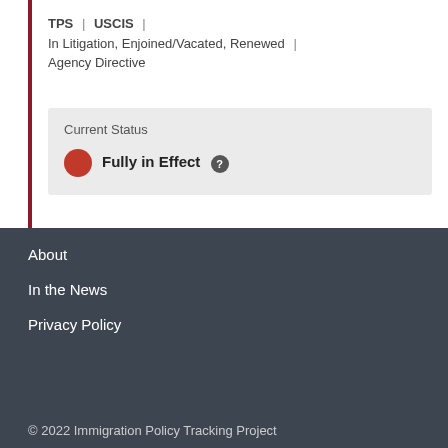TPS | USCIS |
In Litigation, Enjoined/Vacated, Renewed |
Agency Directive
Current Status
Fully in Effect
About
In the News
Privacy Policy
© 2022 Immigration Policy Tracking Project